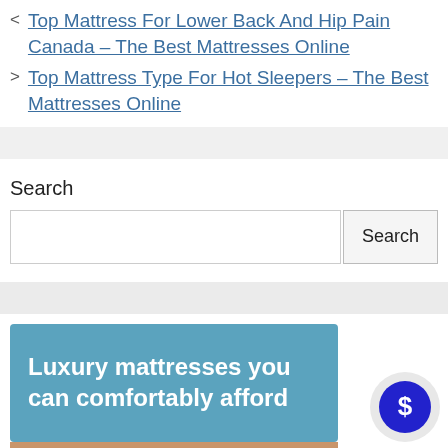< Top Mattress For Lower Back And Hip Pain Canada – The Best Mattresses Online
> Top Mattress Type For Hot Sleepers – The Best Mattresses Online
Search
[Figure (screenshot): Search input box and Search button]
[Figure (illustration): Blue banner ad with text 'Luxury mattresses you can comfortably afford' and a dollar sign speech bubble icon]